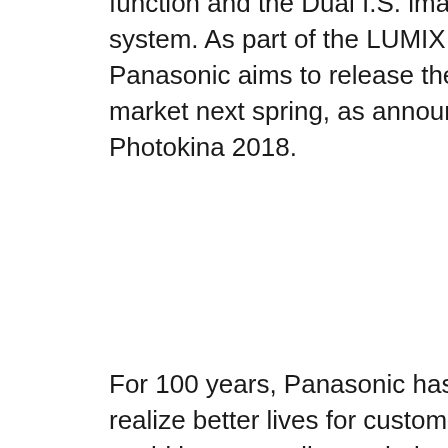function and the Dual I.S. image stabilization system. As part of the LUMIX S series, Panasonic aims to release them on the global market next spring, as announced during Photokina 2018.
For 100 years, Panasonic has strived to help realize better lives for customers around the world by responding to their needs. Working on the concept of creating a new culture of photography for a digital age, in 2008 Panasonic released the G1, the world's first*2 Digital Single Lens Mirrorless camera. Over the last ten years, Panasonic has continued to lead the industry with product innovations. This has included the world's first*3 camera supporting 4K